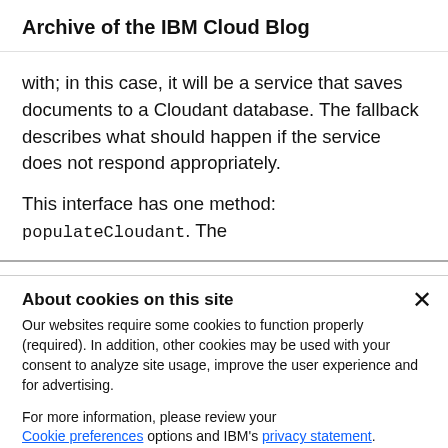Archive of the IBM Cloud Blog
with; in this case, it will be a service that saves documents to a Cloudant database. The fallback describes what should happen if the service does not respond appropriately.
This interface has one method: populateCloudant. The
About cookies on this site
Our websites require some cookies to function properly (required). In addition, other cookies may be used with your consent to analyze site usage, improve the user experience and for advertising.
For more information, please review your Cookie preferences options and IBM's privacy statement.
Required only
Accept all